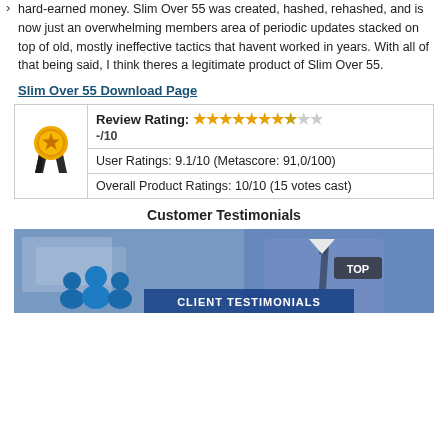hard-earned money. Slim Over 55 was created, hashed, rehashed, and is now just an overwhelming members area of periodic updates stacked on top of old, mostly ineffective tactics that havent worked in years. With all of that being said, I think theres a legitimate product of Slim Over 55.
Slim Over 55 Download Page
| [medal icon] | Review Rating: ★★★★★★★☆☆☆
-/10 |
|  | User Ratings: 9.1/10 (Metascore: 91,0/100) |
|  | Overall Product Ratings: 10/10 (15 votes cast) |
Customer Testimonials
[Figure (photo): A screenshot showing a person in a suit with a 'TOP' label and 'CLIENT TESTIMONIALS' text overlay, along with a blue icon of three people figures.]